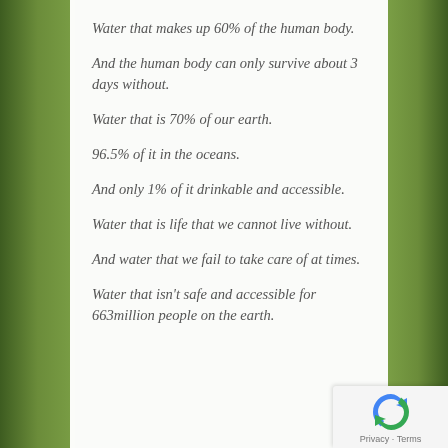Water that makes up 60% of the human body.
And the human body can only survive about 3 days without.
Water that is 70% of our earth.
96.5% of it in the oceans.
And only 1% of it drinkable and accessible.
Water that is life that we cannot live without.
And water that we fail to take care of at times.
Water that isn't safe and accessible for 663million people on the earth.
Privacy · Terms